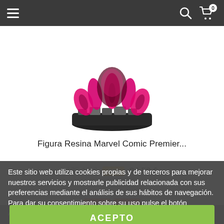Navigation header with hamburger menu, search icon, and cart icon with badge 0
[Figure (photo): Partial view of a Marvel Comic Premier resin figure — pink and dark red character on a dark pedestal base]
Figura Resina Marvel Comic Premier...
135,12 €  -30%  94,59 €
DISPONIBLE
Última unidad en stock
Este sitio web utiliza cookies propias y de terceros para mejorar nuestros servicios y mostrarle publicidad relacionada con sus preferencias mediante el análisis de sus hábitos de navegación. Para dar su consentimiento sobre su uso pulse el botón Acepto.  Más información  Gestionar cookies
ACEPTO